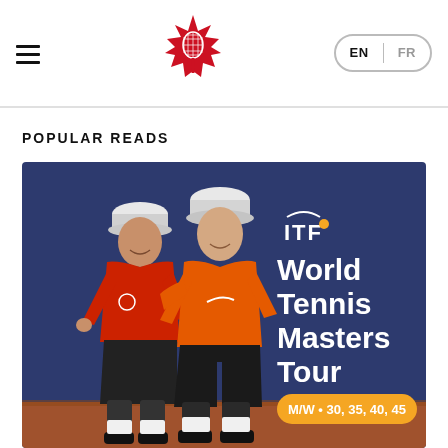Tennis Canada website header with logo and EN/FR language switcher
POPULAR READS
[Figure (photo): Two male tennis players posing together in front of ITF World Tennis Masters Tour banner. Left player wears red shirt and black shorts with white cap; right player wears orange Nike shirt and black shorts with white cap. Background shows the navy blue ITF World Tennis Masters Tour backdrop with text 'ITF World Tennis Masters Tour M/W • 30, 35, 40, 45' and an orange pill badge. Clay court at ground level.]